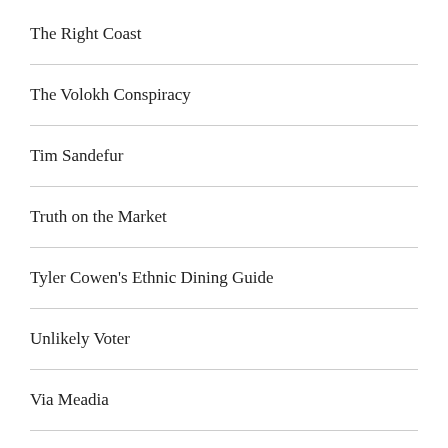The Right Coast
The Volokh Conspiracy
Tim Sandefur
Truth on the Market
Tyler Cowen's Ethnic Dining Guide
Unlikely Voter
Via Meadia
Victoria Coates
LINKS THAT ARE WONDERFUL IN GENERAL
A Dictionary of the English Language, by Samuel Johnson